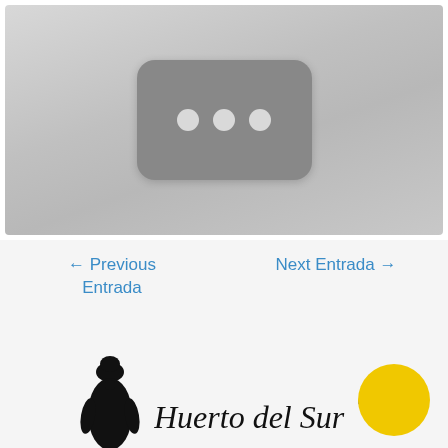[Figure (screenshot): A grayed-out video thumbnail placeholder with a dark rounded rectangle containing three white dots in the center, on a light gray background.]
← Previous Entrada
Next Entrada →
[Figure (logo): Huerto del Sur logo: a black stylized chef/woman figure on the left, cursive text 'Huerto del Sur' with registered trademark symbol, and a yellow circle on the right.]